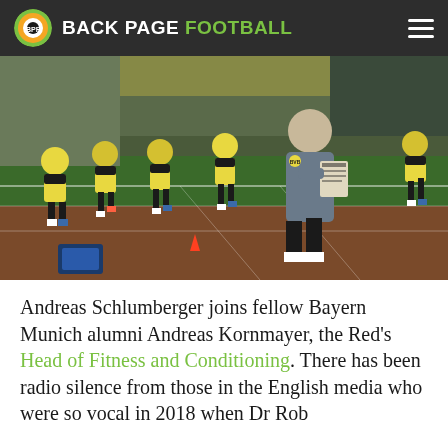BACK PAGE FOOTBALL
[Figure (photo): Football training session showing players in yellow and black Borussia Dortmund kit running on an indoor track, with a coach in grey tracksuit holding a clipboard/tablet in the foreground]
Andreas Schlumberger joins fellow Bayern Munich alumni Andreas Kornmayer, the Red's Head of Fitness and Conditioning. There has been radio silence from those in the English media who were so vocal in 2018 when Dr Rob